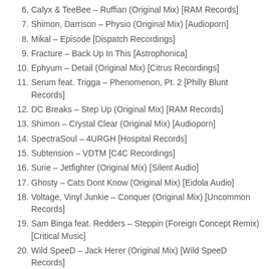6. Calyx & TeeBee – Ruffian (Original Mix) [RAM Records]
7. Shimon, Darrison – Physio (Original Mix) [Audioporn]
8. Mikal – Episode [Dispatch Recordings]
9. Fracture – Back Up In This [Astrophonica]
10. Ephyum – Detail (Original Mix) [Citrus Recordings]
11. Serum feat. Trigga – Phenomenon, Pt. 2 [Philly Blunt Records]
12. DC Breaks – Step Up (Original Mix) [RAM Records]
13. Shimon – Crystal Clear (Original Mix) [Audioporn]
14. SpectraSoul – 4URGH [Hospital Records]
15. Subtension – VDTM [C4C Recordings]
16. Surie – Jetfighter (Original Mix) [Silent Audio]
17. Ghosty – Cats Dont Know (Original Mix) [Eidola Audio]
18. Voltage, Vinyl Junkie – Conquer (Original Mix) [Uncommon Records]
19. Sam Binga feat. Redders – Steppin (Foreign Concept Remix) [Critical Music]
20. Wild SpeeD – Jack Herer (Original Mix) [Wild SpeeD Records]